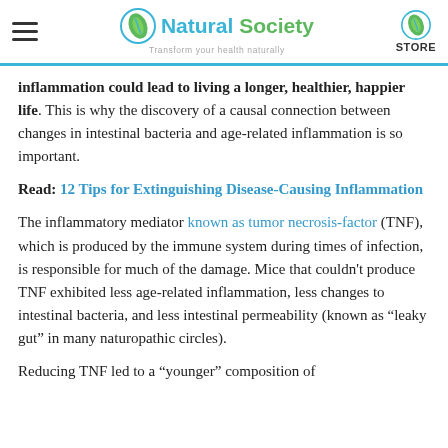Natural Society — Transform your health naturally
inflammation could lead to living a longer, healthier, happier life. This is why the discovery of a causal connection between changes in intestinal bacteria and age-related inflammation is so important.
Read: 12 Tips for Extinguishing Disease-Causing Inflammation
The inflammatory mediator known as tumor necrosis-factor (TNF), which is produced by the immune system during times of infection, is responsible for much of the damage. Mice that couldn't produce TNF exhibited less age-related inflammation, less changes to intestinal bacteria, and less intestinal permeability (known as "leaky gut" in many naturopathic circles).
Reducing TNF led to a "younger" composition of